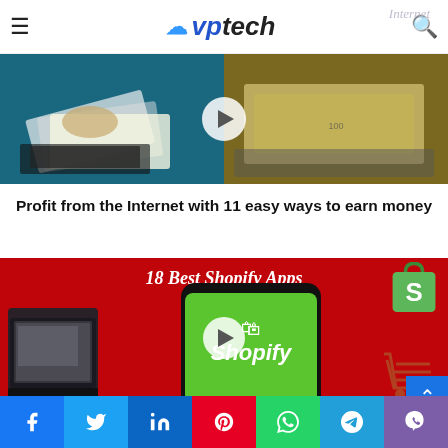VPtech — Internet
[Figure (screenshot): Article thumbnail showing hands holding cash money and a laptop, with a play button overlay in the center.]
Profit from the Internet with 11 easy ways to earn money
[Figure (screenshot): Banner for '18 Best Shopify Apps' showing a smartphone with Shopify app on green background, Shopify logo bag top-right, laptop on left, shopping cart on right, red background, with play button overlay.]
Social share bar: Facebook, Twitter, LinkedIn, Pinterest, WhatsApp, Telegram, Viber